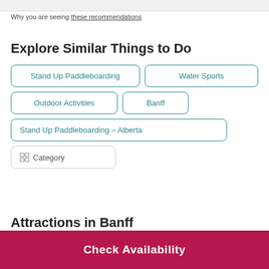Why you are seeing these recommendations
Explore Similar Things to Do
Stand Up Paddleboarding
Water Sports
Outdoor Activities
Banff
Stand Up Paddleboarding - Alberta
Category
Attractions in Banff
Check Availability